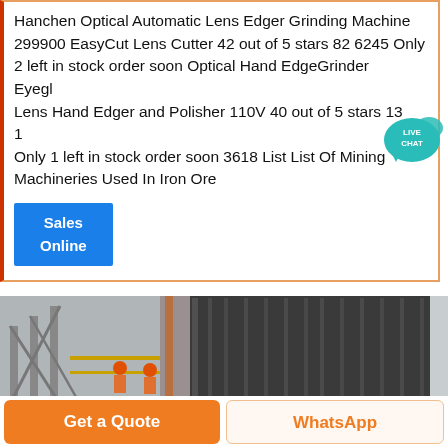Hanchen Optical Automatic Lens Edger Grinding Machine 299900 EasyCut Lens Cutter 42 out of 5 stars 82 6245 Only 2 left in stock order soon Optical Hand EdgeGrinder Eyeglass Lens Hand Edger and Polisher 110V 40 out of 5 stars 13 100 Only 1 left in stock order soon 3618 List List Of Mining Machineries Used In Iron Ore
[Figure (other): Live chat bubble icon — teal speech bubble with 'LIVE CHAT' text]
Sales
Online
[Figure (photo): Industrial photo showing large cylindrical grinding/milling machine with workers in orange hard hats and safety vests, metal staircases and industrial structure in background]
Get a Quote
WhatsApp